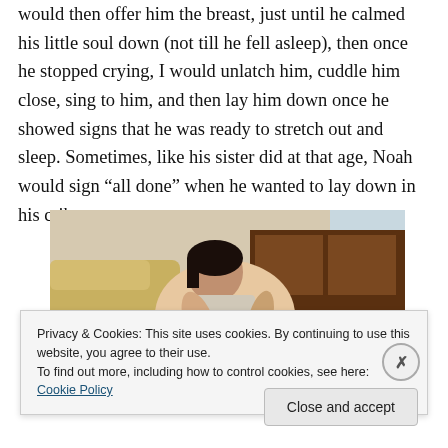would then offer him the breast, just until he calmed his little soul down (not till he fell asleep), then once he stopped crying, I would unlatch him, cuddle him close, sing to him, and then lay him down once he showed signs that he was ready to stretch out and sleep. Sometimes, like his sister did at that age, Noah would sign “all done” when he wanted to lay down in his crib.
[Figure (photo): A woman breastfeeding a baby while seated in a chair near a wooden table.]
Privacy & Cookies: This site uses cookies. By continuing to use this website, you agree to their use.
To find out more, including how to control cookies, see here: Cookie Policy
Close and accept